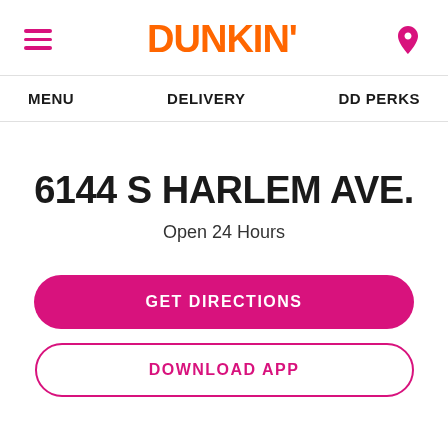DUNKIN'
MENU   DELIVERY   DD PERKS
6144 S HARLEM AVE.
Open 24 Hours
GET DIRECTIONS
DOWNLOAD APP